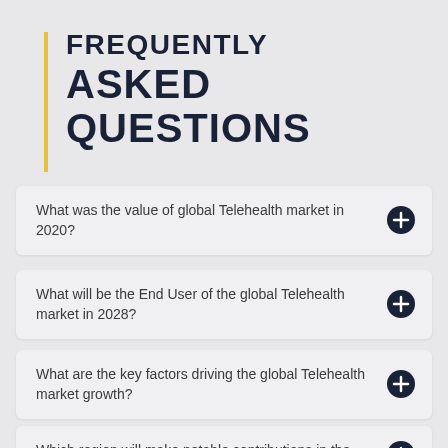FREQUENTLY ASKED QUESTIONS
What was the value of global Telehealth market in 2020?
What will be the End User of the global Telehealth market in 2028?
What are the key factors driving the global Telehealth market growth?
Which region will make notable contributions in the global Telehealth market?